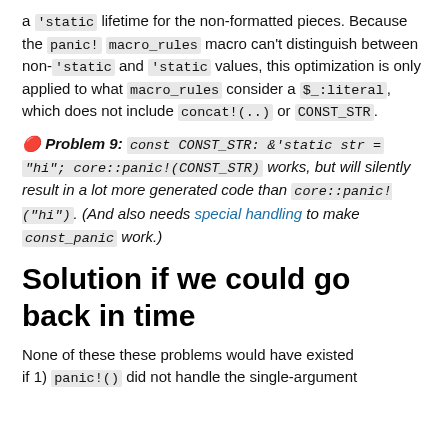a 'static lifetime for the non-formatted pieces. Because the panic! macro_rules macro can't distinguish between non-'static and 'static values, this optimization is only applied to what macro_rules consider a $_:literal, which does not include concat!(..) or CONST_STR.
🔴 Problem 9: const CONST_STR: &'static str = "hi"; core::panic!(CONST_STR) works, but will silently result in a lot more generated code than core::panic!("hi"). (And also needs special handling to make const_panic work.)
Solution if we could go back in time
None of these these problems would have existed if 1) panic!() did not handle the single-argument